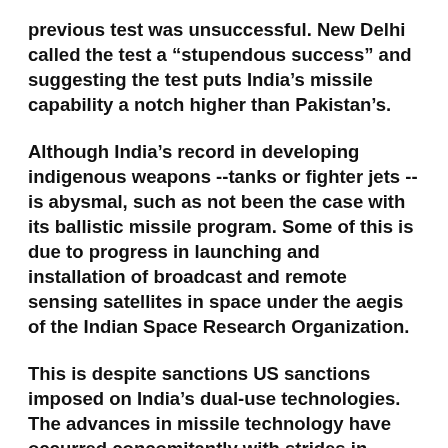previous test was unsuccessful. New Delhi called the test a “stupendous success” and suggesting the test puts India’s missile capability a notch higher than Pakistan’s.
Although India’s record in developing indigenous weapons --tanks or fighter jets -- is abysmal, such as not been the case with its ballistic missile program. Some of this is due to progress in launching and installation of broadcast and remote sensing satellites in space under the aegis of the Indian Space Research Organization.
This is despite sanctions US sanctions imposed on India’s dual-use technologies. The advances in missile technology have occurred concomitantly with strides in space research as the motors used in the launch vehicles of satellites have been incorporated into missiles.
The Defense Research & Development Organization, which has an otherwise spotty record of weapons